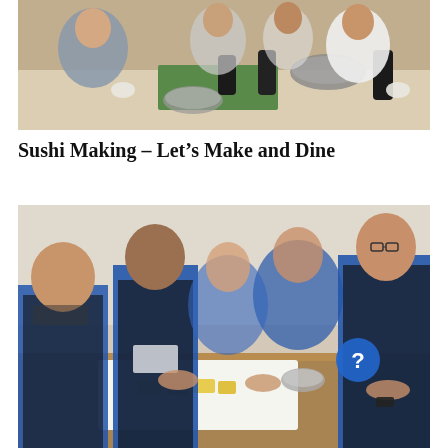[Figure (photo): Group of people making sushi at a table, smiling and giving thumbs up. They have gloves on and there are sushi-making materials on the table including bamboo mats, bowls, and nori.]
Sushi Making – Let's Make and Dine
[Figure (photo): Group of people in blue t-shirts and black aprons making food together at a wooden table. They are focused on preparing ingredients. A blue circle with a question mark is visible on one person's apron.]